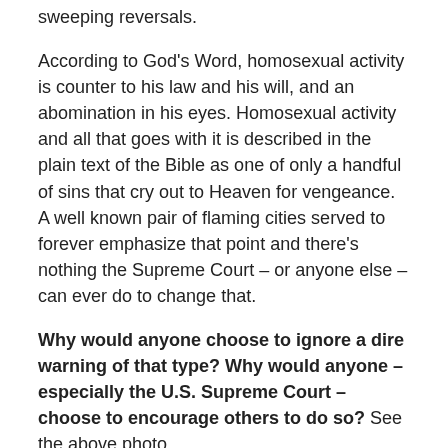sweeping reversals.
According to God's Word, homosexual activity is counter to his law and his will, and an abomination in his eyes. Homosexual activity and all that goes with it is described in the plain text of the Bible as one of only a handful of sins that cry out to Heaven for vengeance. A well known pair of flaming cities served to forever emphasize that point and there's nothing the Supreme Court – or anyone else – can ever do to change that.
Why would anyone choose to ignore a dire warning of that type? Why would anyone – especially the U.S. Supreme Court – choose to encourage others to do so? See the above photo.
The Catholic Church categorizes homosexual activity as (objectively) a grave sin, capable of landing a soul in Hell